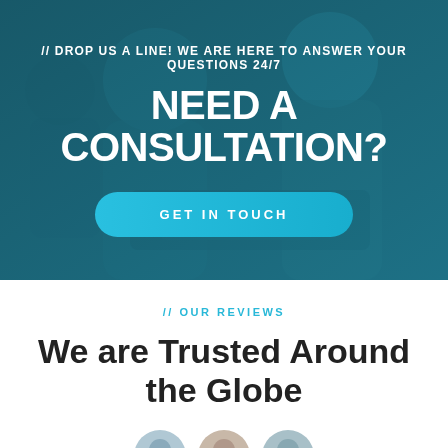[Figure (photo): Hero banner with a teal/blue-tinted background photo of two women collaborating, looking at a tablet together. Dark teal overlay on top.]
// DROP US A LINE! WE ARE HERE TO ANSWER YOUR QUESTIONS 24/7
NEED A CONSULTATION?
GET IN TOUCH
// OUR REVIEWS
We are Trusted Around the Globe
[Figure (photo): Partially visible avatar photos of people at the bottom of the page]